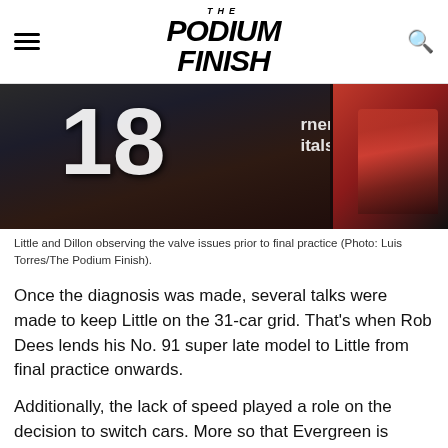THE PODIUM FINISH
[Figure (photo): Photo of Little and Dillon in racing gear observing the car, showing number 18 and partial sponsor text 'ners itals' on racing suit, dark background.]
Little and Dillon observing the valve issues prior to final practice (Photo: Luis Torres/The Podium Finish).
Once the diagnosis was made, several talks were made to keep Little on the 31-car grid. That’s when Rob Dees lends his No. 91 super late model to Little from final practice onwards.
Additionally, the lack of speed played a role on the decision to switch cars. More so that Evergreen is synonymous to the Little family dating back two generations. Jesse’s dad Chad Little won the torcraft 500 three times back when it was